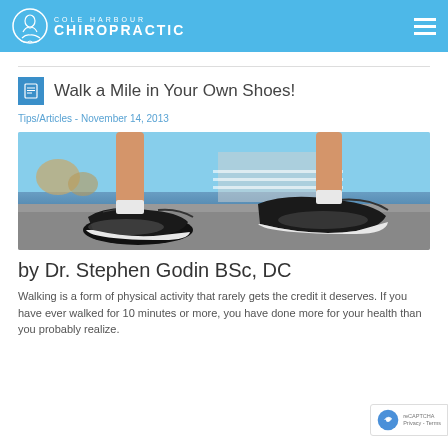COLE HARBOUR CHIROPRACTIC
Walk a Mile in Your Own Shoes!
Tips/Articles - November 14, 2013
[Figure (photo): Close-up photo of a person's legs wearing black Nike running shoes, walking on pavement outdoors with trees and a house in the background.]
by Dr. Stephen Godin BSc, DC
Walking is a form of physical activity that rarely gets the credit it deserves. If you have ever walked for 10 minutes or more, you have done more for your health than you probably realize.